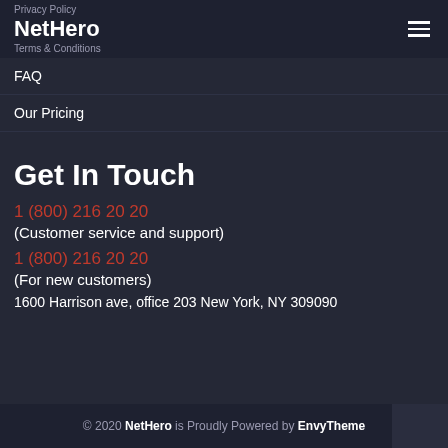Privacy Policy | NetHero | Terms & Conditions
FAQ
Our Pricing
Get In Touch
1 (800) 216 20 20
(Customer service and support)
1 (800) 216 20 20
(For new customers)
1600 Harrison ave, office 203 New York, NY 309090
© 2020 NetHero is Proudly Powered by EnvyTheme